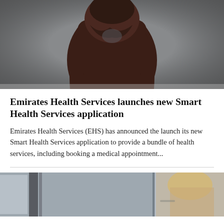[Figure (photo): Person wearing a dark brown abaya/robe and head covering, photographed against a gray background, upper body visible]
Emirates Health Services launches new Smart Health Services application
Emirates Health Services (EHS) has announced the launch its new Smart Health Services application to provide a bundle of health services, including booking a medical appointment...
[Figure (photo): Two people in what appears to be a medical or clinical setting, partially visible at the bottom of the page]